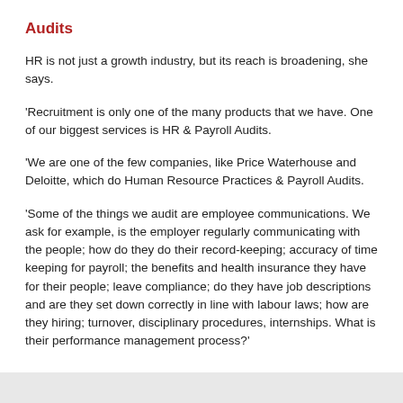Audits
HR is not just a growth industry, but its reach is broadening, she says.
'Recruitment is only one of the many products that we have. One of our biggest services is HR & Payroll Audits.
'We are one of the few companies, like Price Waterhouse and Deloitte, which do Human Resource Practices & Payroll Audits.
'Some of the things we audit are employee communications. We ask for example, is the employer regularly communicating with the people; how do they do their record-keeping; accuracy of time keeping for payroll; the benefits and health insurance they have for their people; leave compliance; do they have job descriptions and are they set down correctly in line with labour laws; how are they hiring; turnover, disciplinary procedures, internships. What is their performance management process?'